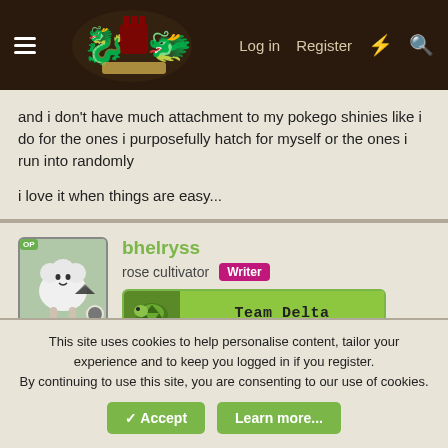Log in  Register
and i don't have much attachment to my pokego shinies like i do for the ones i purposefully hatch for myself or the ones i run into randomly

i love it when things are easy...
bhelryss
rose cultivator  Writer
Team Delta
Jun 18, 2022  #84
having 2 3ds era consoles is awesome, it means i can do my trade evos!!!!! SO MALLORY EVOLVED

genga time B)
This site uses cookies to help personalise content, tailor your experience and to keep you logged in if you register.
By continuing to use this site, you are consenting to our use of cookies.